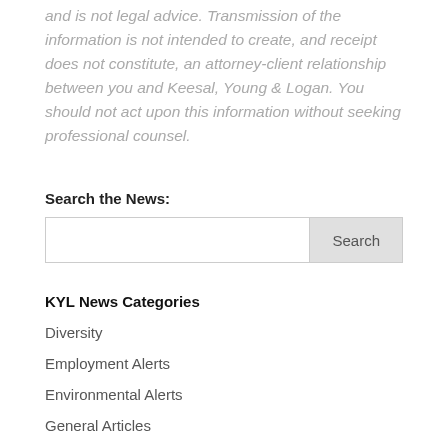and is not legal advice. Transmission of the information is not intended to create, and receipt does not constitute, an attorney-client relationship between you and Keesal, Young & Logan. You should not act upon this information without seeking professional counsel.
Search the News:
Search
KYL News Categories
Diversity
Employment Alerts
Environmental Alerts
General Articles